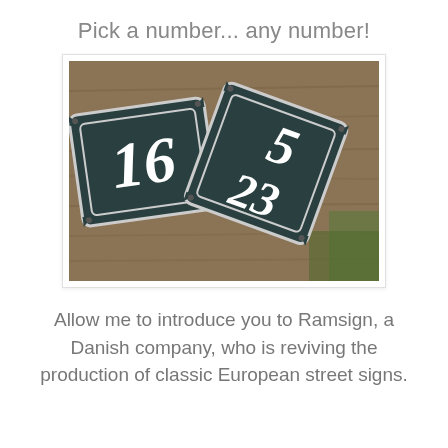Pick a number... any number!
[Figure (photo): Two dark teal enamel European house number signs lying on a wooden surface. One sign shows '16' and another overlapping sign shows '5' over '23' in white ornate lettering with decorative borders.]
Allow me to introduce you to Ramsign, a Danish company, who is reviving the production of classic European street signs.